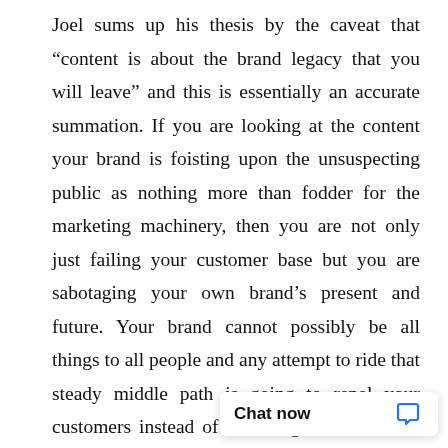Joel sums up his thesis by the caveat that “content is about the brand legacy that you will leave” and this is essentially an accurate summation. If you are looking at the content your brand is foisting upon the unsuspecting public as nothing more than fodder for the marketing machinery, then you are not only just failing your customer base but you are sabotaging your own brand’s present and future. Your brand cannot possibly be all things to all people and any attempt to ride that steady middle path is going to repel your customers instead of attracting them. No one has ever shared content that they considered pedestrian and dreary, as they prefer to bring to the attention of their social circles content “that makes